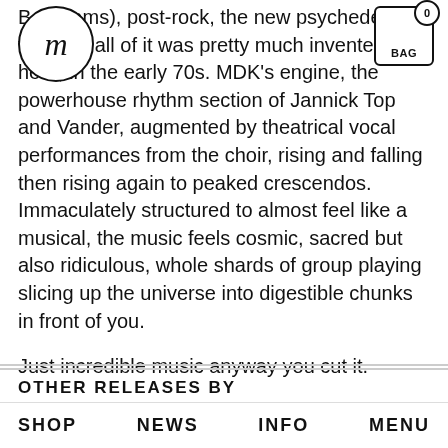[Figure (logo): Circular logo with italic lowercase 'm' letter]
[Figure (illustration): Shopping bag icon with '0' bubble counter and 'BAG' label]
Boredoms), post-rock, the new psychedelia of the 00s, all of it was pretty much invented here, in the early 70s. MDK's engine, the powerhouse rhythm section of Jannick Top and Vander, augmented by theatrical vocal performances from the choir, rising and falling then rising again to peaked crescendos. Immaculately structured to almost feel like a musical, the music feels cosmic, sacred but also ridiculous, whole shards of group playing slicing up the universe into digestible chunks in front of you.
Just incredible music anyway you cut it.
OTHER RELEASES BY
SHOP   NEWS   INFO   MENU